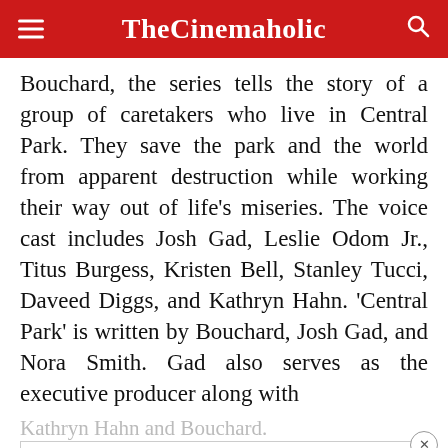TheCinemaholic
Bouchard, the series tells the story of a group of caretakers who live in Central Park. They save the park and the world from apparent destruction while working their way out of life’s miseries. The voice cast includes Josh Gad, Leslie Odom Jr., Titus Burgess, Kristen Bell, Stanley Tucci, Daveed Diggs, and Kathryn Hahn. ‘Central Park’ is written by Bouchard, Josh Gad, and Nora Smith. Gad also serves as the executive producer along with
Kathryn Hahn and Bouchard.
[Figure (screenshot): Bloomingdale's advertisement banner: logo text 'bloomingdales', tagline 'View Today’s Top Deals!', image of woman in hat, and 'SHOP NOW >' button]
5. In Tennis 1001 (2020)